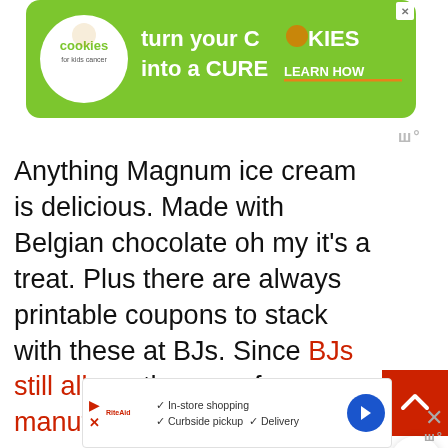[Figure (screenshot): Banner advertisement for Cookies for Kids Cancer: green banner with cookie logo, text 'turn your COOKIES into a CURE LEARN HOW']
Anything Magnum ice cream is delicious. Made with Belgian chocolate oh my it’s a treat. Plus there are always printable coupons to stack with these at BJs. Since BJs still allows the use of manufacturer coupons with BJs coupons. Check out the coupon stacks here.
[Figure (screenshot): Bottom banner advertisement for a grocery store showing in-store shopping, curbside pickup, and delivery options with a blue navigation arrow icon]